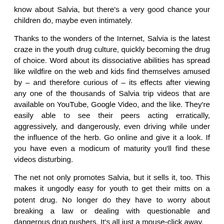know about Salvia, but there's a very good chance your children do, maybe even intimately.
Thanks to the wonders of the Internet, Salvia is the latest craze in the youth drug culture, quickly becoming the drug of choice. Word about its dissociative abilities has spread like wildfire on the web and kids find themselves amused by – and therefore curious of – its effects after viewing any one of the thousands of Salvia trip videos that are available on YouTube, Google Video, and the like. They're easily able to see their peers acting erratically, aggressively, and dangerously, even driving while under the influence of the herb. Go online and give it a look. If you have even a modicum of maturity you'll find these videos disturbing.
The net not only promotes Salvia, but it sells it, too. This makes it ungodly easy for youth to get their mitts on a potent drug. No longer do they have to worry about breaking a law or dealing with questionable and dangerous drug pushers. It's all just a mouse-click away.
A quick search will show hundreds of internet companies